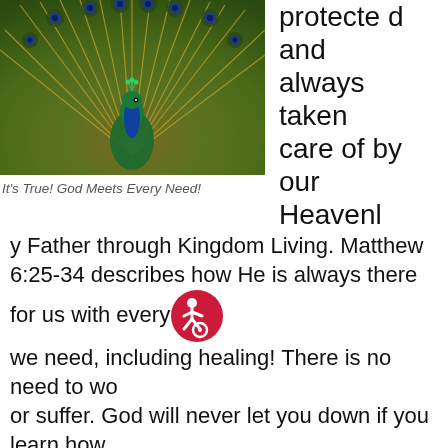[Figure (photo): A peacock with its feathers fully spread, showing colorful plumage with green, gold, and blue tones.]
It's True! God Meets Every Need!
protected and always taken care of by our Heavenly Father through Kingdom Living. Matthew 6:25-34 describes how He is always there for us with every we need, including healing! There is no need to wo or suffer. God will never let you down if you learn how to trust in Him by faith.
I know because throughout the years God has healed me of devastating illnesses, life problems and financial set-backs. God meets my every need and has always been there for me, but at first I had to first believe that although God's Word is true, it was also